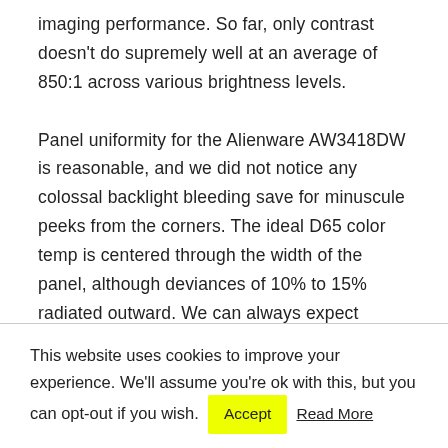imaging performance. So far, only contrast doesn't do supremely well at an average of 850:1 across various brightness levels.

Panel uniformity for the Alienware AW3418DW is reasonable, and we did not notice any colossal backlight bleeding save for minuscule peeks from the corners. The ideal D65 color temp is centered through the width of the panel, although deviances of 10% to 15% radiated outward. We can always expect curved screens to have some backlighting escape from the corners and minor skewing, although, on this model, we
This website uses cookies to improve your experience. We'll assume you're ok with this, but you can opt-out if you wish. Accept Read More